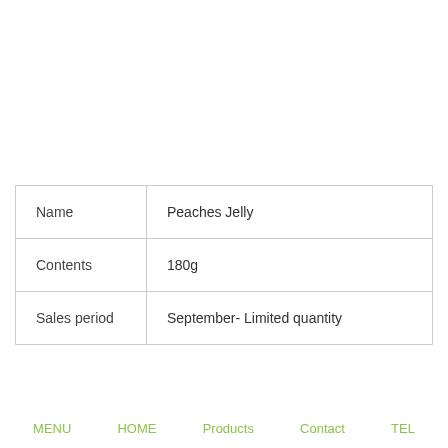| Name | Peaches Jelly |
| Contents | 180g |
| Sales period | September- Limited quantity |
MENU   HOME   Products   Contact   TEL